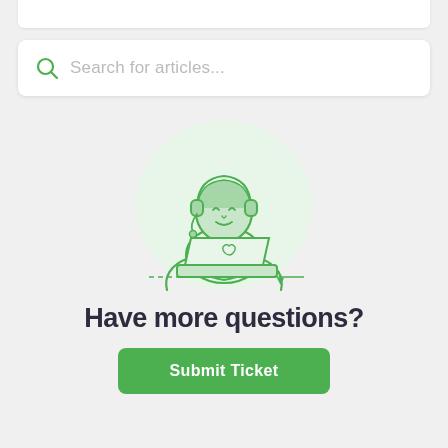[Figure (illustration): Customer support agent illustration: person with headset and laptop, green line-art style, on a light circular background]
Have more questions?
Submit Ticket